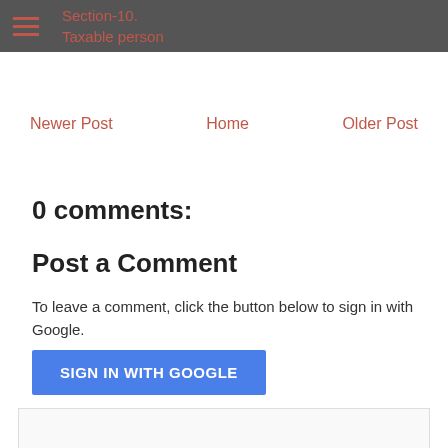Section-10. Taxable person
Newer Post   Home   Older Post
0 comments:
Post a Comment
To leave a comment, click the button below to sign in with Google.
[Figure (other): Blue 'SIGN IN WITH GOOGLE' button]
[Figure (other): Bottom white box / comment input area]